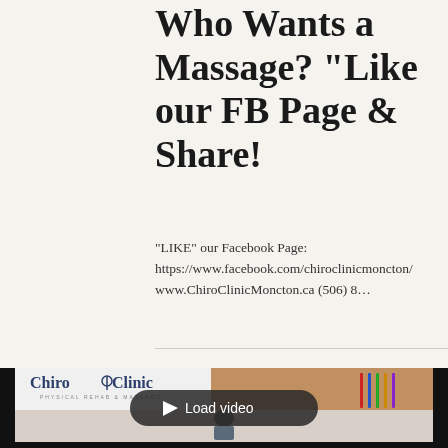Who Wants a Massage? "Like our FB Page & Share!
"LIKE" our Facebook Page: https://www.facebook.com/chiroclinicmoncton/ www.ChiroClinicMoncton.ca (506) 8...
[Figure (screenshot): Video thumbnail showing ChiroClinic Physical Rehab & Massage logo on left, a massage/hands image on top right with resistance bands, and a person in a clinic room on the bottom. A 'Load video' play button overlay is centered on the image.]